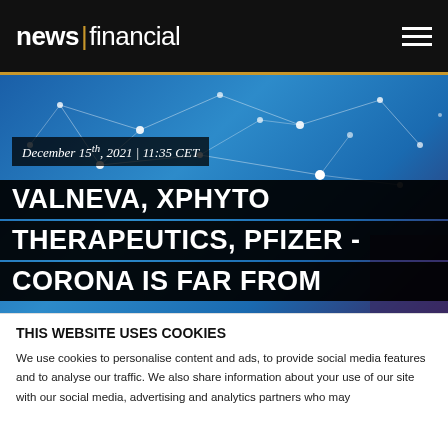news|financial
[Figure (photo): Blue digital network background with white connected nodes and lines, with overlaid text: date 'December 15th, 2021 | 11:35 CET' and headline 'VALNEVA, XPHYTO THERAPEUTICS, PFIZER - CORONA IS FAR FROM DEFEATED']
VALNEVA, XPHYTO THERAPEUTICS, PFIZER - CORONA IS FAR FROM DEFEATED
THIS WEBSITE USES COOKIES
We use cookies to personalise content and ads, to provide social media features and to analyse our traffic. We also share information about your use of our site with our social media, advertising and analytics partners who may